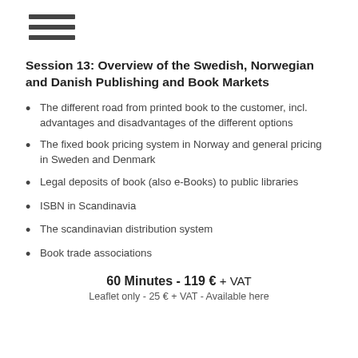[Figure (other): Hamburger menu icon with three horizontal bars]
Session 13: Overview of the Swedish, Norwegian and Danish Publishing and Book Markets
The different road from printed book to the customer, incl. advantages and disadvantages of the different options
The fixed book pricing system in Norway and general pricing in Sweden and Denmark
Legal deposits of book (also e-Books) to public libraries
ISBN in Scandinavia
The scandinavian distribution system
Book trade associations
60 Minutes - 119 € + VAT
Leaflet only - 25 € + VAT - Available here